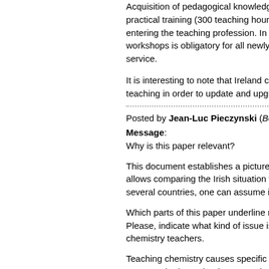Acquisition of pedagogical knowledge practical training (300 teaching hours in entering the teaching profession. In additional workshops is obligatory for all newly appointed service.
It is interesting to note that Ireland continues teaching in order to update and upgrade
Posted by Jean-Luc Pieczynski (Belgium)
Message: Why is this paper relevant?
This document establishes a picture of allows comparing the Irish situation with several countries, one can assume it d
Which parts of this paper underline relevance? Please, indicate what kind of issue is highlighted for chemistry teachers.
Teaching chemistry causes specific problems:
• Research always leads to more knowledge
o What new knowledge deserves to be taught?
o How to structures notions in a coherent way?
o How to manage the increasingly large content of a still more developed discipline?
o How can the teacher maintain sufficient knowledge on a current issue)?
• To motivate students, we need to stimulate